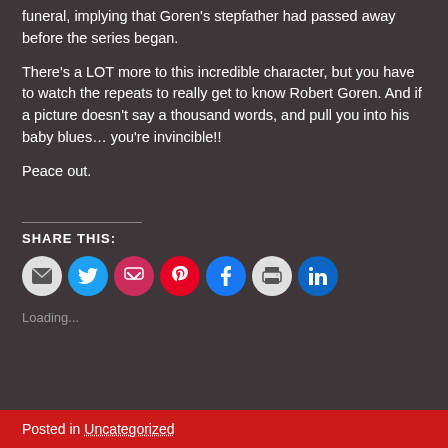funeral, implying that Goren's stepfather had passed away before the series began.
There's a LOT more to this incredible character, but you have to watch the repeats to really get to know Robert Goren. And if a picture doesn't say a thousand words, and pull you into his baby blues… you're invincible!!
Peace out.
SHARE THIS:
[Figure (infographic): Row of social sharing icon buttons: email (gray), Twitter (blue), Pocket (pink-red), Pinterest (red), Facebook (blue), Print (gray), LinkedIn (dark blue)]
Loading...
Posted in Uncategorized